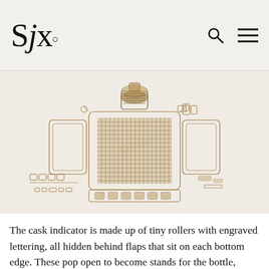SJx.
[Figure (engineering-diagram): Exploded/technical illustration of a watch movement component — the cask indicator mechanism — shown as a detailed line drawing in sepia/brown tones against a light background. The drawing shows rollers, flaps, gears, and mechanical parts spread out in an exploded view.]
The cask indicator is made up of tiny rollers with engraved lettering, all hidden behind flaps that sit on each bottom edge. These pop open to become stands for the bottle, keeping it stable on the desk.